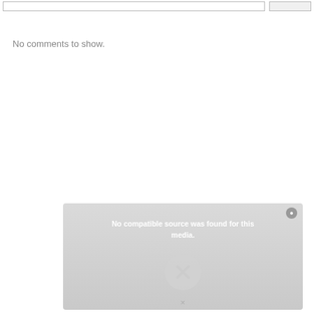No comments to show.
[Figure (screenshot): Media player error overlay with 'No compatible source was found for this media.' message and an X icon button.]